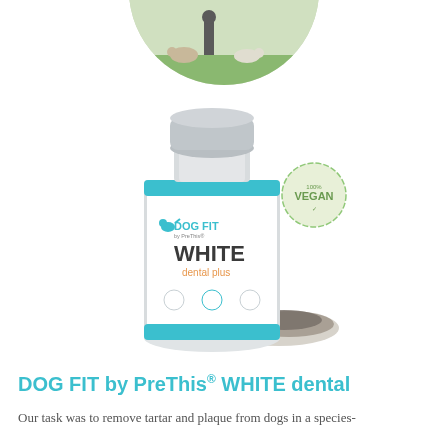[Figure (photo): Circular cropped photo at top showing a person walking with dogs in a green field]
[Figure (photo): Product photo of DOG FIT by PreThis WHITE dental plus supplement bottle with teal accents, alongside a vegan badge and a small pile of dark powder/granules]
DOG FIT by PreThis® WHITE dental
Our task was to remove tartar and plaque from dogs in a species-